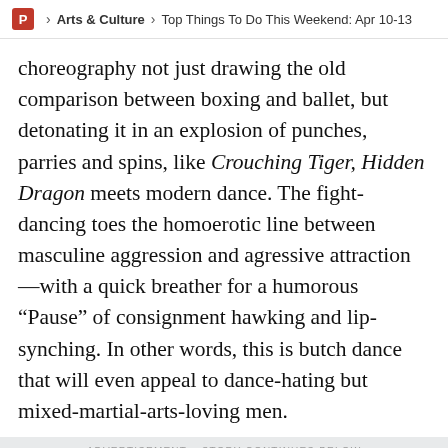P > Arts & Culture > Top Things To Do This Weekend: Apr 10-13
choreography not just drawing the old comparison between boxing and ballet, but detonating it in an explosion of punches, parries and spins, like Crouching Tiger, Hidden Dragon meets modern dance. The fight-dancing toes the homoerotic line between masculine aggression and agressive attraction—with a quick breather for a humorous “Pause” of consignment hawking and lip-synching. In other words, this is butch dance that will even appeal to dance-hating but mixed-martial-arts-loving men.
ADVERTISEMENT - STORY CONTINUES BELOW
[Figure (photo): Advertisement banner with photo of a blonde woman in formal attire on the left, teal background on the right with text 'Your Oregon Symphony's New Season:']